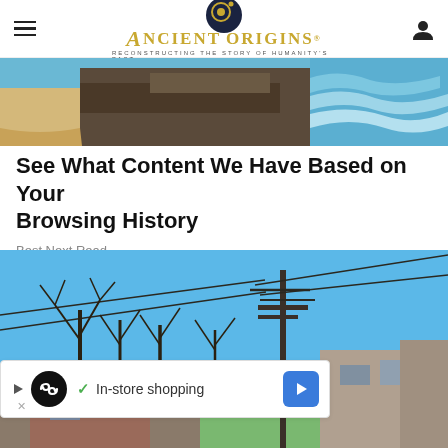Ancient Origins — Reconstructing the story of humanity's past
[Figure (photo): Aerial view of rocky coastline with waves and sandy beach]
See What Content We Have Based on Your Browsing History
Best Next Read
[Figure (photo): Street scene with bare trees, utility poles, blue sky, and run-down buildings]
[Figure (infographic): Advertisement bar showing: play icon, infinity loop logo, checkmark, 'In-store shopping' text, and blue navigation arrow button]